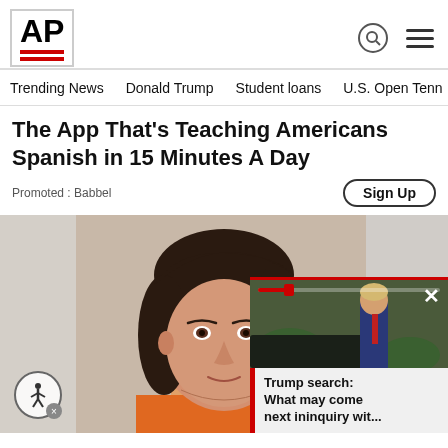AP
Trending News   Donald Trump   Student loans   U.S. Open Tenn
The App That's Teaching Americans Spanish in 15 Minutes A Day
Promoted : Babbel
Sign Up
[Figure (photo): Mugshot-style photo of a middle-aged woman with dark hair, wearing an orange top, looking directly at camera. Background is beige/grey.]
[Figure (screenshot): Video thumbnail overlay showing a man in a suit (Donald Trump) outdoors, with a video progress bar at top, close button (X), and caption text below reading 'Trump search: What may come next ininquiry wit...']
Trump search: What may come next ininquiry wit...